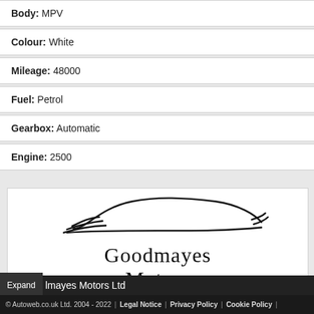Body: MPV
Colour: White
Mileage: 48000
Fuel: Petrol
Gearbox: Automatic
Engine: 2500
[Figure (logo): Goodmayes Motors logo: stylized sports car silhouette in black ink above the text 'Goodmayes Motors' with subtitle 'Importers of Fine Japanese Cars']
Expand  lmayes Motors Ltd
© Autoweb.co.uk Ltd. 2004 - 2022 | Legal Notice | Privacy Policy | Cookie Policy |